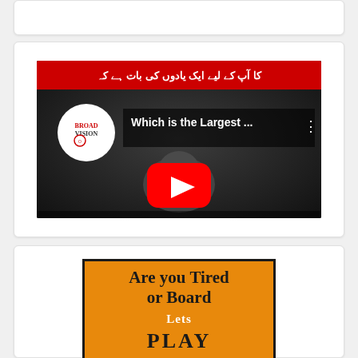[Figure (screenshot): Top card partially visible, white card with rounded corners]
[Figure (screenshot): YouTube video thumbnail: 'Which is the Largest ...' with Broad Vision channel logo, elephant in dark background, red YouTube play button overlay]
[Figure (illustration): Orange card with black border containing text 'Are you Tired or Board', 'Lets', 'PLAY' in bold serif font on orange background]